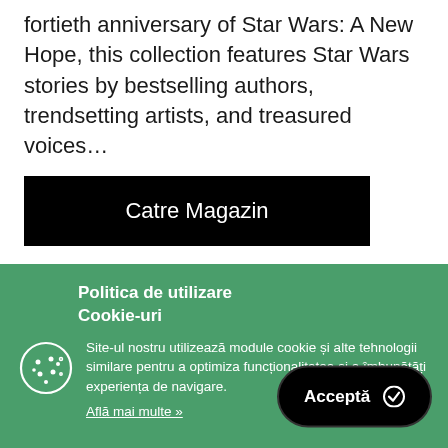fortieth anniversary of Star Wars: A New Hope, this collection features Star Wars stories by bestselling authors, trendsetting artists, and treasured voices…
Catre Magazin
Politica de utilizare Cookie-uri
Site-ul nostru utilizează module cookie și alte tehnologii similare pentru a optimiza funcționalitatea si a îmbunătăți experiența de navigare.
Află mai multe »
Acceptă ✓